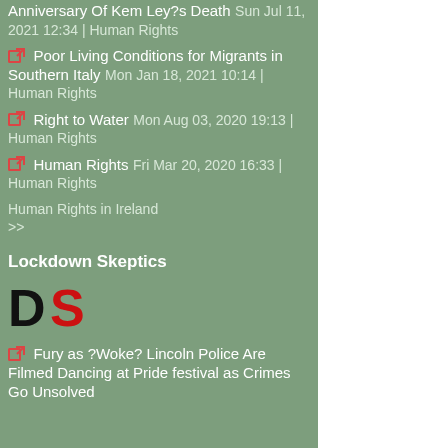Anniversary Of Kem Ley?s Death Sun Jul 11, 2021 12:34 | Human Rights
Poor Living Conditions for Migrants in Southern Italy Mon Jan 18, 2021 10:14 | Human Rights
Right to Water Mon Aug 03, 2020 19:13 | Human Rights
Human Rights Fri Mar 20, 2020 16:33 | Human Rights
Human Rights in Ireland >>
Lockdown Skeptics
[Figure (logo): DS logo in black and red letters]
Fury as ?Woke? Lincoln Police Are Filmed Dancing at Pride festival as Crimes Go Unsolved